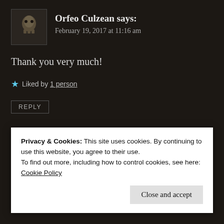Orfeo Culzean says: February 19, 2017 at 11:16 am
Thank you very much!
Liked by 1 person
REPLY
[Figure (other): Horizontal gradient bar from cyan/blue to pink/purple, with REPORT THIS AD label at right]
Privacy & Cookies: This site uses cookies. By continuing to use this website, you agree to their use.
To find out more, including how to control cookies, see here: Cookie Policy
Close and accept
Seriously mate, very impressive and inspiring; very